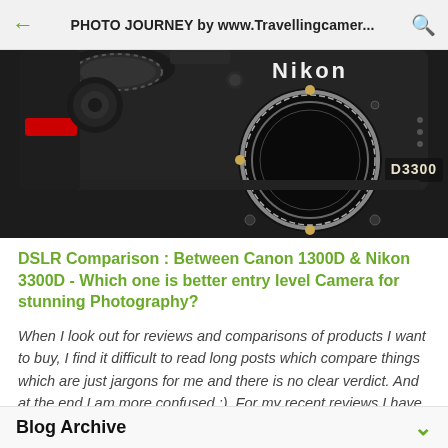PHOTO JOURNEY by www.Travellingcamer...
[Figure (photo): Close-up front view of a Nikon D3300 DSLR camera body showing the lens mount, mode dial, and D3300 branding on a dark background]
DSLR Comparison : Between Canon 1300D & Nikon 3300D - Which one is better entry level Camera for stunning Photography?
When I look out for reviews and comparisons of products I want to buy, I find it difficult to read long posts which compare things which are just jargons for me and there is no clear verdict. And at the end I am more confused :). For my recent reviews I have ...
Blog Archive